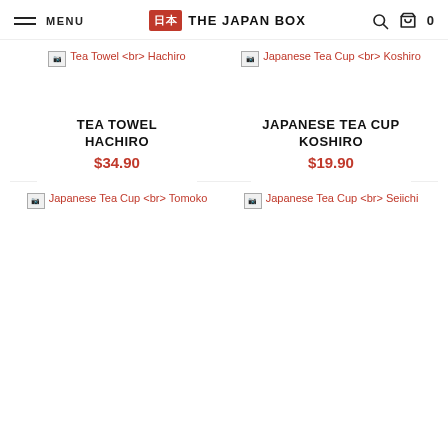MENU | THE JAPAN BOX | Search | Cart 0
[Figure (other): Broken image placeholder for Tea Towel Hachiro product]
[Figure (other): Broken image placeholder for Japanese Tea Cup Koshiro product]
TEA TOWEL HACHIRO
$34.90
JAPANESE TEA CUP KOSHIRO
$19.90
[Figure (other): Broken image placeholder for Japanese Tea Cup Tomoko product]
[Figure (other): Broken image placeholder for Japanese Tea Cup Seiichi product]